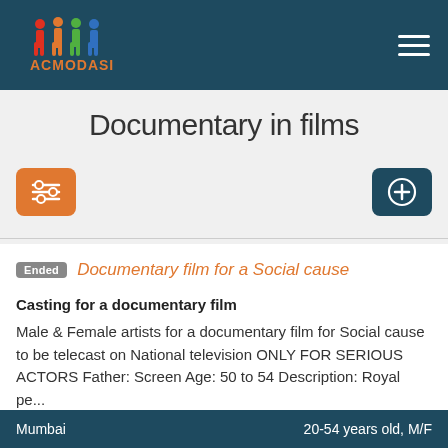ACMODASI [logo with figures] — hamburger menu
Documentary in films
[Figure (other): Filter/sliders icon button (orange) and Add/plus icon button (dark teal)]
Ended — Documentary film for a Social cause
Casting for a documentary film
Male & Female artists for a documentary film for Social cause to be telecast on National television ONLY FOR SERIOUS ACTORS Father: Screen Age: 50 to 54 Description: Royal pe...
Mumbai    20-54 years old, M/F